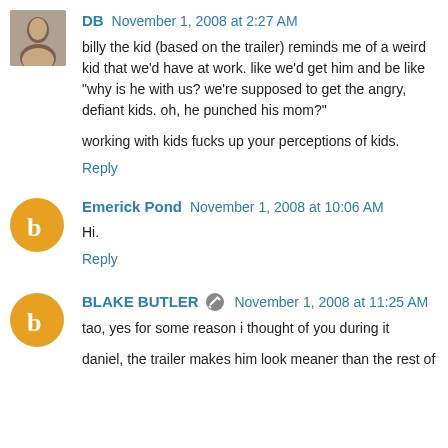[Figure (photo): Small square profile photo of a person (DB avatar)]
DB November 1, 2008 at 2:27 AM
billy the kid (based on the trailer) reminds me of a weird kid that we'd have at work. like we'd get him and be like "why is he with us? we're supposed to get the angry, defiant kids. oh, he punched his mom?"
working with kids fucks up your perceptions of kids.
Reply
[Figure (logo): Orange circle with white Blogger 'b' icon - Emerick Pond avatar]
Emerick Pond November 1, 2008 at 10:06 AM
Hi.
Reply
[Figure (logo): Orange circle with white Blogger 'b' icon - Blake Butler avatar]
BLAKE BUTLER November 1, 2008 at 11:25 AM
tao, yes for some reason i thought of you during it
daniel, the trailer makes him look meaner than the rest of